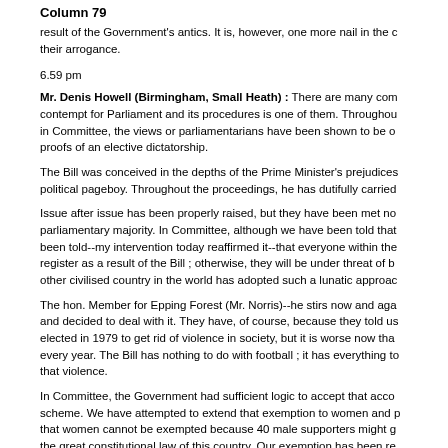Column 79
result of the Government's antics. It is, however, one more nail in the c... their arrogance.
6.59 pm
Mr. Denis Howell (Birmingham, Small Heath) : There are many com... contempt for Parliament and its procedures is one of them. Throughou... in Committee, the views or parliamentarians have been shown to be o... proofs of an elective dictatorship.
The Bill was conceived in the depths of the Prime Minister's prejudices... political pageboy. Throughout the proceedings, he has dutifully carried...
Issue after issue has been properly raised, but they have been met no... parliamentary majority. In Committee, although we have been told that... been told--my intervention today reaffirmed it--that everyone within the... register as a result of the Bill ; otherwise, they will be under threat of b... other civilised country in the world has adopted such a lunatic approac...
The hon. Member for Epping Forest (Mr. Norris)--he stirs now and aga... and decided to deal with it. They have, of course, because they told us... elected in 1979 to get rid of violence in society, but it is worse now tha... every year. The Bill has nothing to do with football ; it has everything to... that violence.
In Committee, the Government had sufficient logic to accept that acco... scheme. We have attempted to extend that exemption to women and p... that women cannot be exempted because 40 male supporters might g... the great constitutional law of this country. Our exemption has been re... to buy women's clothes. In Committee that argument has become kn...